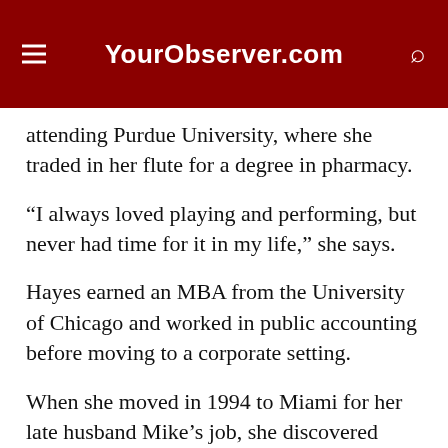YourObserver.com
attending Purdue University, where she traded in her flute for a degree in pharmacy.
“I always loved playing and performing, but never had time for it in my life,” she says.
Hayes earned an MBA from the University of Chicago and worked in public accounting before moving to a corporate setting.
When she moved in 1994 to Miami for her late husband Mike’s job, she discovered handbells and decided to get back into music.